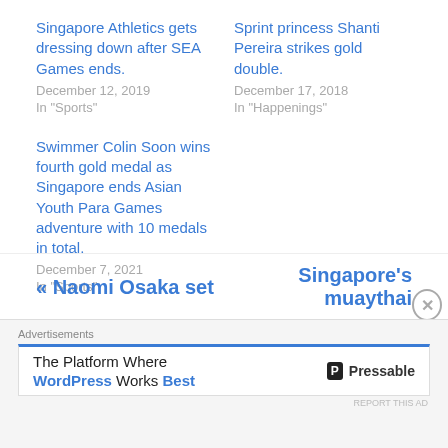Singapore Athletics gets dressing down after SEA Games ends.
December 12, 2019
In "Sports"
Sprint princess Shanti Pereira strikes gold double.
December 17, 2018
In "Happenings"
Swimmer Colin Soon wins fourth gold medal as Singapore ends Asian Youth Para Games adventure with 10 medals in total.
December 7, 2021
In "Sports"
« Naomi Osaka set    Singapore's muaythai
Advertisements
The Platform Where WordPress Works Best    Pressable